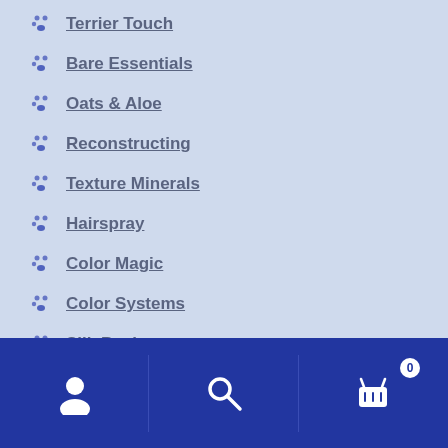Terrier Touch
Bare Essentials
Oats & Aloe
Reconstructing
Texture Minerals
Hairspray
Color Magic
Color Systems
Silk Basics
Specialty
Brushes
User | Search | Cart (0)